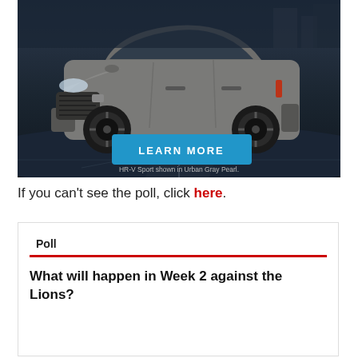[Figure (photo): Honda HR-V Sport SUV in Urban Gray Pearl shown on a dark road background with a blue 'LEARN MORE' button and caption 'HR-V Sport shown in Urban Gray Pearl.']
If you can't see the poll, click here.
Poll
What will happen in Week 2 against the Lions?